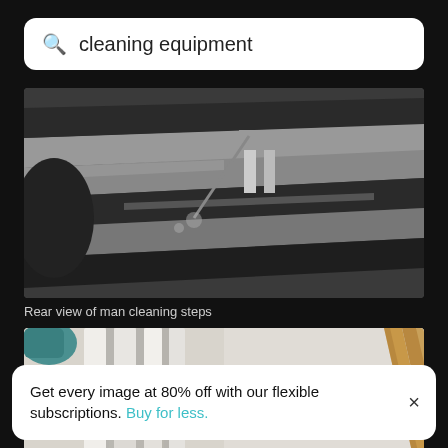cleaning equipment
[Figure (photo): Black and white rear view photo of a man cleaning outdoor stone steps with a long-handled brush, water visible on the steps]
Rear view of man cleaning steps
[Figure (photo): Color photo of wooden broom/mop handles leaning against a white wall with white fence pickets]
Get every image at 80% off with our flexible subscriptions. Buy for less.